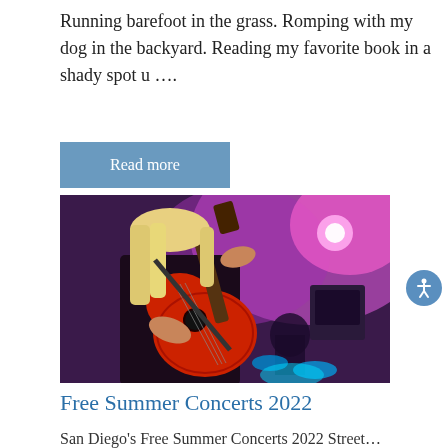Running barefoot in the grass. Romping with my dog in the backyard. Reading my favorite book in a shady spot u ….
Read more
[Figure (photo): A woman with long blonde hair playing a red acoustic guitar on stage with purple and pink stage lighting, with a drummer visible in the background.]
Free Summer Concerts 2022
San Diego's Free Summer Concerts 2022 Street...